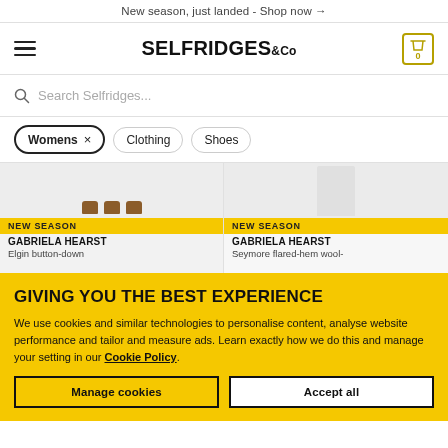New season, just landed - Shop now →
[Figure (screenshot): Selfridges & Co logo with hamburger menu and cart icon showing 0 items]
Search Selfridges...
Womens × Clothing Shoes
[Figure (photo): Two Gabriela Hearst product cards with NEW SEASON badges]
GABRIELA HEARST
Elgin button-down
GABRIELA HEARST
Seymore flared-hem wool-
GIVING YOU THE BEST EXPERIENCE
We use cookies and similar technologies to personalise content, analyse website performance and tailor and measure ads. Learn exactly how we do this and manage your setting in our Cookie Policy.
Manage cookies
Accept all